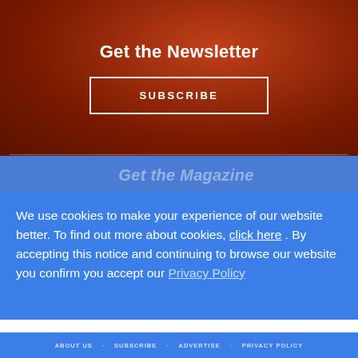Get the Newsletter
SUBSCRIBE
Get the Magazine
SUBSCRIBE
We use cookies to make your experience of our website better. To find out more about cookies, click here . By accepting this notice and continuing to browse our website you confirm you accept our Privacy Policy
OK
ABOUT US · SUBSCRIBE · ADVERTISE · PRIVACY POLICY